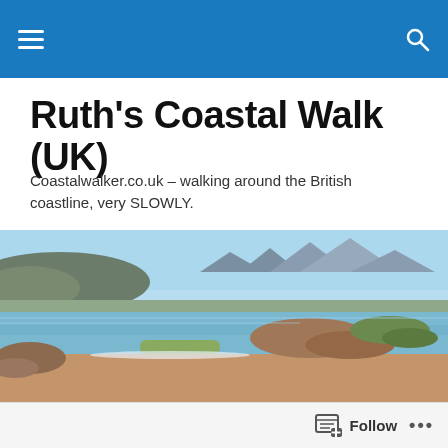Ruth's Coastal Walk (UK) – navigation bar
Ruth's Coastal Walk (UK)
Coastalwalker.co.uk – walking around the British coastline, very SLOWLY.
[Figure (photo): Coastal landscape with a sandy beach, rocky outcrops, calm water inlet, and mountains in the background under a blue sky.]
393 Achateny to Kilmory and Ockle
Follow  •••